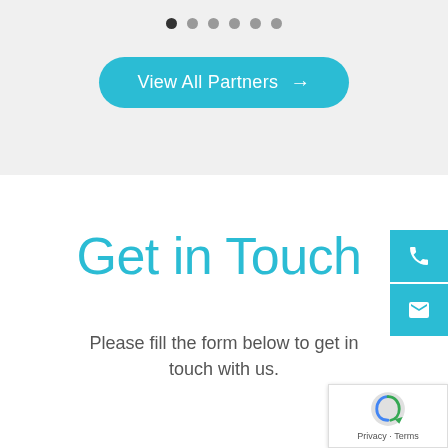[Figure (other): Carousel navigation dots — one filled dark, five light gray]
[Figure (other): Teal rounded-rectangle button labeled 'View All Partners →']
Get in Touch
Please fill the form below to get in touch with us.
[Figure (other): Floating right-side teal icon bar with phone and envelope icons]
[Figure (other): Google reCAPTCHA badge with Privacy and Terms links]